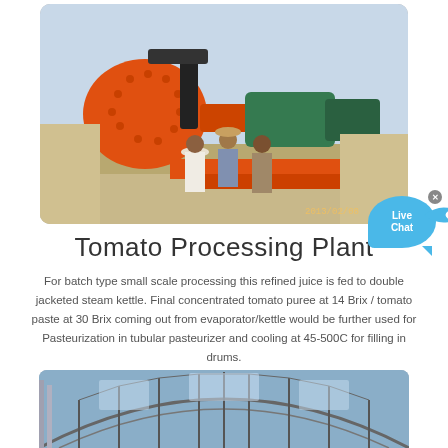[Figure (photo): Outdoor industrial site: three men standing in front of large orange ball mill machinery with green motor, on a construction/mining site. Date stamp 2013/02/08.]
Tomato Processing Plant
For batch type small scale processing this refined juice is fed to double jacketed steam kettle. Final concentrated tomato puree at 14 Brix / tomato paste at 30 Brix coming out from evaporator/kettle would be further used for Pasteurization in tubular pasteurizer and cooling at 45-500C for filling in drums.
[Figure (photo): Interior view of an industrial building with a large arched metal roof/truss structure and skylights.]